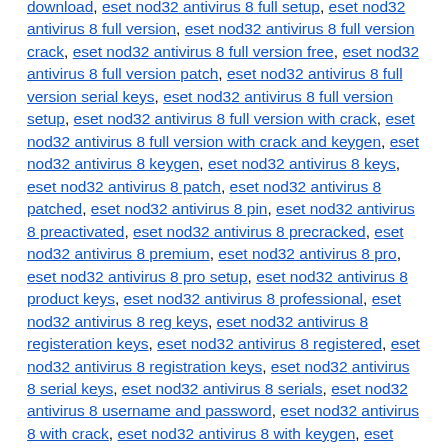download, eset nod32 antivirus 8 full setup, eset nod32 antivirus 8 full version, eset nod32 antivirus 8 full version crack, eset nod32 antivirus 8 full version free, eset nod32 antivirus 8 full version patch, eset nod32 antivirus 8 full version serial keys, eset nod32 antivirus 8 full version setup, eset nod32 antivirus 8 full version with crack, eset nod32 antivirus 8 full version with crack and keygen, eset nod32 antivirus 8 keygen, eset nod32 antivirus 8 keys, eset nod32 antivirus 8 patch, eset nod32 antivirus 8 patched, eset nod32 antivirus 8 pin, eset nod32 antivirus 8 preactivated, eset nod32 antivirus 8 precracked, eset nod32 antivirus 8 premium, eset nod32 antivirus 8 pro, eset nod32 antivirus 8 pro setup, eset nod32 antivirus 8 product keys, eset nod32 antivirus 8 professional, eset nod32 antivirus 8 reg keys, eset nod32 antivirus 8 registeration keys, eset nod32 antivirus 8 registered, eset nod32 antivirus 8 registration keys, eset nod32 antivirus 8 serial keys, eset nod32 antivirus 8 serials, eset nod32 antivirus 8 username and password, eset nod32 antivirus 8 with crack, eset nod32 antivirus 8 with keygen, eset nod32 antivirus 8 with serial keys, eset nod32 codes, eset nod32 crack, eset nod32